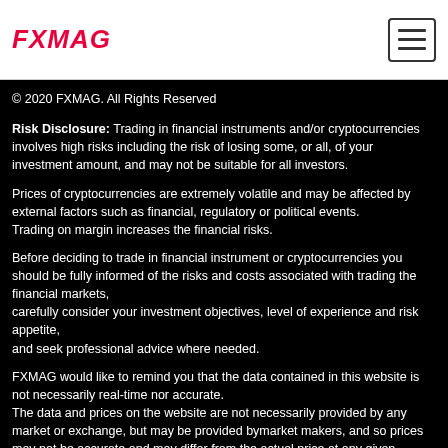FXMAG
© 2020 FXMAG. All Rights Reserved
Risk Disclosure: Trading in financial instruments and/or cryptocurrencies involves high risks including the risk of losing some, or all, of your investment amount, and may not be suitable for all investors.
Prices of cryptocurrencies are extremely volatile and may be affected by external factors such as financial, regulatory or political events. Trading on margin increases the financial risks.
Before deciding to trade in financial instrument or cryptocurrencies you should be fully informed of the risks and costs associated with trading the financial markets, carefully consider your investment objectives, level of experience and risk appetite, and seek professional advice where needed.
FXMAG would like to remind you that the data contained in this website is not necessarily real-time nor accurate. The data and prices on the website are not necessarily provided by any market or exchange, but may be provided bymarket makers, and so prices may not be accurate and may differ from the actual price at any given market, meaning